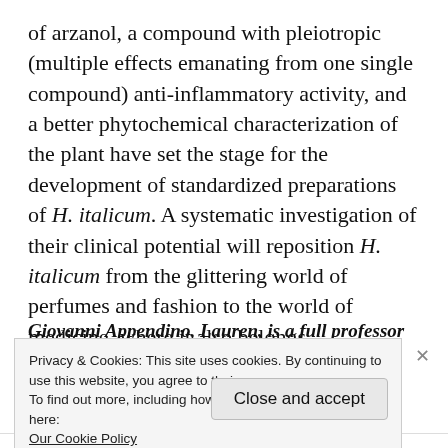of arzanol, a compound with pleiotropic (multiple effects emanating from one single compound) anti-inflammatory activity, and a better phytochemical characterization of the plant have set the stage for the development of standardized preparations of H. italicum. A systematic investigation of their clinical potential will reposition H. italicum from the glittering world of perfumes and fashion to the world of medicine, where it also belongs.
Giovanni Appendino, Lauren is a full professor of
Privacy & Cookies: This site uses cookies. By continuing to use this website, you agree to their use.
To find out more, including how to control cookies, see here:
Our Cookie Policy
Close and accept